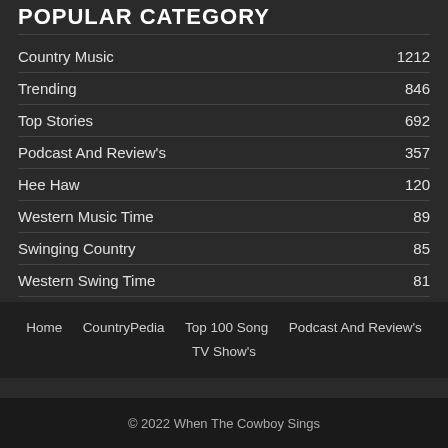POPULAR CATEGORY
Country Music  1212
Trending  846
Top Stories  692
Podcast And Review's  357
Hee Haw  120
Western Music Time  89
Swinging Country  85
Western Swing Time  81
Pop Goes The Country  61
Home   CountryPedia   Top 100 Song   Podcast And Review's   TV Show's
© 2022 When The Cowboy Sings